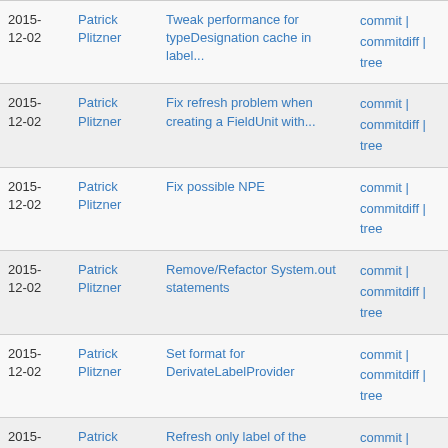| Date | Author | Message | Links |
| --- | --- | --- | --- |
| 2015-12-02 | Patrick Plitzner | Tweak performance for typeDesignation cache in label... | commit | commitdiff | tree |
| 2015-12-02 | Patrick Plitzner | Fix refresh problem when creating a FieldUnit with... | commit | commitdiff | tree |
| 2015-12-02 | Patrick Plitzner | Fix possible NPE | commit | commitdiff | tree |
| 2015-12-02 | Patrick Plitzner | Remove/Refactor System.out statements | commit | commitdiff | tree |
| 2015-12-02 | Patrick Plitzner | Set format for DerivateLabelProvider | commit | commitdiff | tree |
| 2015-12-02 | Patrick Plitzner | Refresh only label of the element that has changed | commit | commitdiff | tree |
| 2015-12-02 | Patrick Plitzner | Use formatter framework in DerivateLabelProvider | commit | commitdiff | tree |